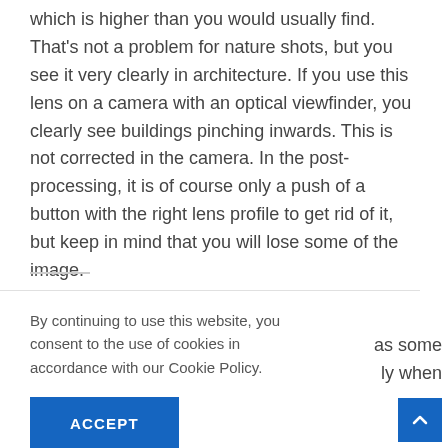which is higher than you would usually find. That's not a problem for nature shots, but you see it very clearly in architecture. If you use this lens on a camera with an optical viewfinder, you clearly see buildings pinching inwards. This is not corrected in the camera. In the post-processing, it is of course only a push of a button with the right lens profile to get rid of it, but keep in mind that you will lose some of the image.
By continuing to use this website, you consent to the use of cookies in accordance with our Cookie Policy.
ACCEPT
as some ly when